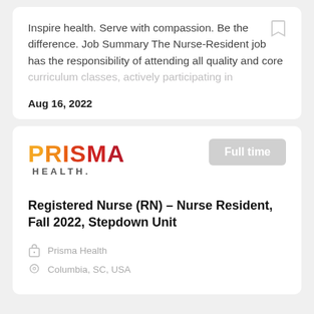Inspire health. Serve with compassion. Be the difference. Job Summary The Nurse-Resident job has the responsibility of attending all quality and core curriculum classes, actively participating in
Aug 16, 2022
[Figure (logo): Prisma Health logo with colorful gradient lettering from orange to red, and HEALTH. subtitle in grey]
Full time
Registered Nurse (RN) – Nurse Resident, Fall 2022, Stepdown Unit
Prisma Health
Columbia, SC, USA